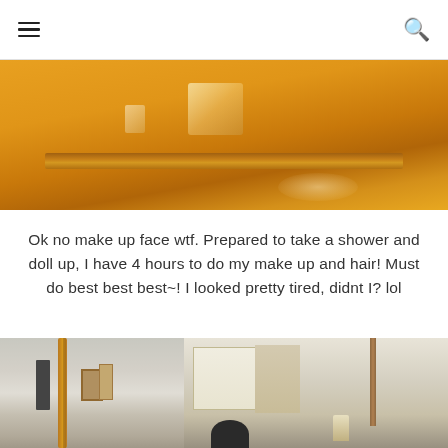[hamburger menu icon] [search icon]
[Figure (photo): Close-up photo of a mirror with golden/amber colored wooden frame and ornamental detail, warm orange-yellow tones throughout]
Ok no make up face wtf. Prepared to take a shower and doll up, I have 4 hours to do my make up and hair! Must do best best best~! I looked pretty tired, didnt I? lol
[Figure (photo): Room mirror selfie showing a hotel or apartment room interior with ornate gold-framed mirror, a bright window with curtains, artwork on wall, lamp, and person's head visible at bottom]